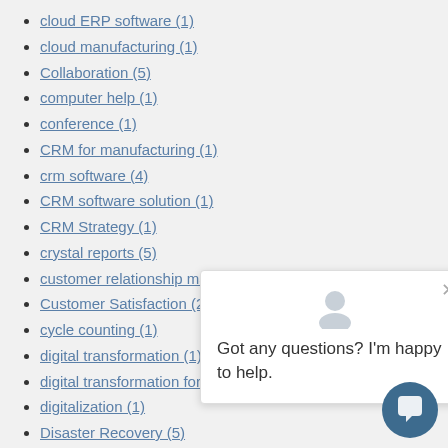cloud ERP software (1)
cloud manufacturing (1)
Collaboration (5)
computer help (1)
conference (1)
CRM for manufacturing (1)
crm software (4)
CRM software solution (1)
CRM Strategy (1)
crystal reports (5)
customer relationship management (3)
Customer Satisfaction (2)
cycle counting (1)
digital transformation (1)
digital transformation for m...
digitalization (1)
Disaster Recovery (5)
Distribution Automation (10)
distribution management software (1)
Distribution Software (3)
document management (8)